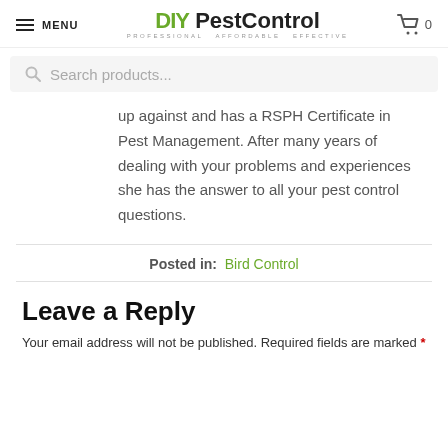MENU | DIY PestControl PROFESSIONAL AFFORDABLE EFFECTIVE | Cart 0
Search products...
up against and has a RSPH Certificate in Pest Management. After many years of dealing with your problems and experiences she has the answer to all your pest control questions.
Posted in: Bird Control
Leave a Reply
Your email address will not be published. Required fields are marked *